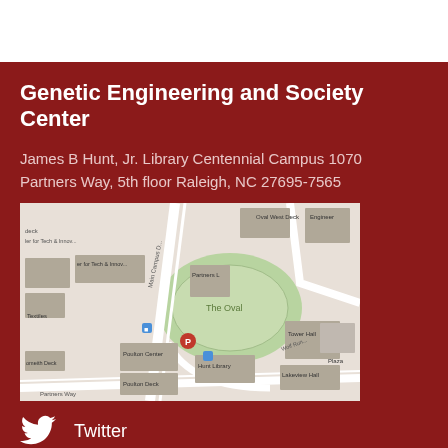Genetic Engineering and Society Center
James B Hunt, Jr. Library Centennial Campus 1070 Partners Way, 5th floor Raleigh, NC 27695-7565
[Figure (map): Street map showing the area around the James B Hunt Jr. Library at NC State Centennial Campus, showing Poulton Center, Poulton Deck, Hunt Library, Partners Way, The Oval, Tower Hall, Lakeview Hall, and other campus buildings.]
Twitter